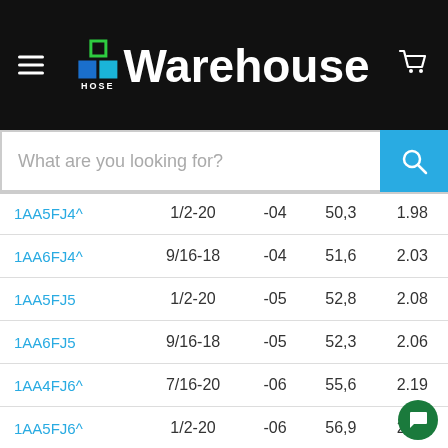HOSE Warehouse
| Part Number | Thread | Dash | Col4 | Col5 |
| --- | --- | --- | --- | --- |
| 1AA5FJ4^ | 1/2-20 | -04 | 50,3 | 1.98 |
| 1AA6FJ4^ | 9/16-18 | -04 | 51,6 | 2.03 |
| 1AA5FJ5 | 1/2-20 | -05 | 52,8 | 2.08 |
| 1AA6FJ5 | 9/16-18 | -05 | 52,3 | 2.06 |
| 1AA4FJ6^ | 7/16-20 | -06 | 55,6 | 2.19 |
| 1AA5FJ6^ | 1/2-20 | -06 | 56,9 | 2.24 |
| 1AA6FJ6†^ | 9/16-18 | -06 | 57,9 | 2.2… |